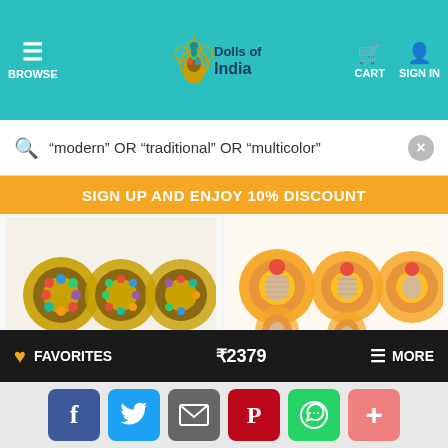[Figure (screenshot): Dolls of India website header with navigation: hamburger/BROWSE on left, peacock logo and Dolls of India text in center, cart and sign-in icons on right, on teal background]
"modern" OR "traditional" OR "multicolor"
SIGN UP AND ENJOY 10% DISCOUNT
[Figure (photo): Light brown and multicolor stone earrings/pendants jewelry photo]
Light Brown And Multicolor Stone...
Item Code: LJ82
Metal And Stone
Pendant - 0.75 inches
Earrings - 0.5 inches
[Figure (photo): Lacquered shell pendant set in orange/cream/red colors jewelry photo]
Lacquered Shell Pendant Set In...
Item Code: GH24
Shell
Necklace - 21 inches
Pendant - 2.5 inches
FAVORITES
₹2379
MORE
[Figure (screenshot): Social share bar with Facebook, Twitter, Email, Pinterest, WhatsApp, and plus buttons]